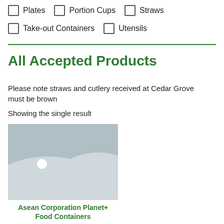Plates   Portion Cups   Straws
Take-out Containers   Utensils
All Accepted Products
Please note straws and cutlery received at Cedar Grove must be brown
Showing the single result
[Figure (photo): Placeholder image with grey mountain/landscape silhouette and a white circle sun on grey background]
Asean Corporation Planet+ Food Containers